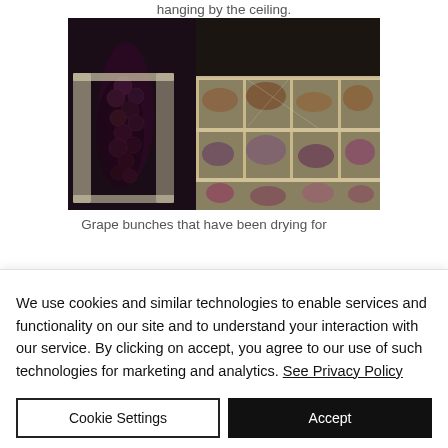hanging by the ceiling.
[Figure (photo): Photo of grape bunches drying — on the left, a dark cluster of fresh grapes hanging beside white plastic crates, and on the right, trays of shriveled, partially dried grapes stacked in white plastic shelving units.]
Grape bunches that have been drying for
We use cookies and similar technologies to enable services and functionality on our site and to understand your interaction with our service. By clicking on accept, you agree to our use of such technologies for marketing and analytics. See Privacy Policy
Cookie Settings
Accept